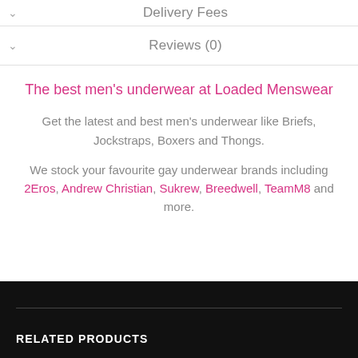Delivery Fees
Reviews (0)
The best men's underwear at Loaded Menswear
Get the latest and best men's underwear like Briefs, Jockstraps, Boxers and Thongs.
We stock your favourite gay underwear brands including 2Eros, Andrew Christian, Sukrew, Breedwell, TeamM8 and more.
RELATED PRODUCTS